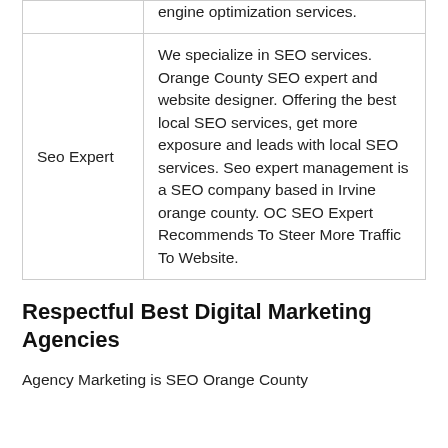|  | engine optimization services. |
| Seo Expert | We specialize in SEO services. Orange County SEO expert and website designer. Offering the best local SEO services, get more exposure and leads with local SEO services. Seo expert management is a SEO company based in Irvine orange county. OC SEO Expert Recommends To Steer More Traffic To Website. |
Respectful Best Digital Marketing Agencies
Agency Marketing is SEO Orange County